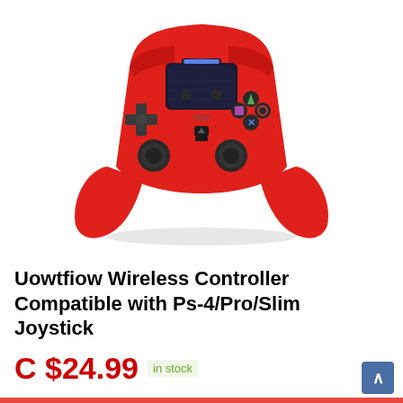[Figure (photo): Red PS4-style wireless game controller with dark gray buttons, dual analog sticks, touchpad, and directional pad. The controller is shown from the front on a white background with a subtle shadow beneath it.]
Uowtfiow Wireless Controller Compatible with Ps-4/Pro/Slim Joystick
C $24.99  in stock